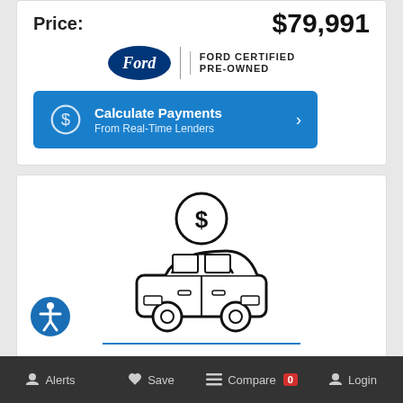Price:
$79,991
[Figure (logo): Ford Certified Pre-Owned badge with Ford oval logo]
Calculate Payments
From Real-Time Lenders
[Figure (illustration): Car with dollar coin on top icon, line illustration]
Sell Us Your Car
Alerts  Save  Compare 0  Login